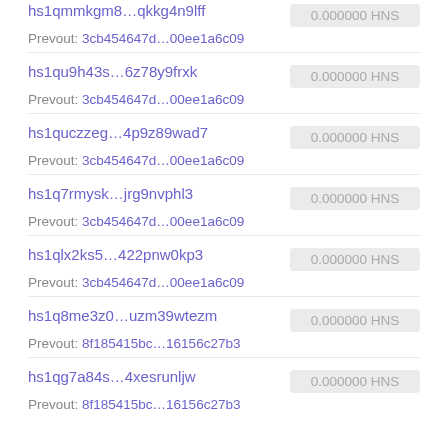hs1qmmkgm8...qkkg4n9lff  0.000000 HNS
Prevout: 3cb454647d...00ee1a6c09
hs1qu9h43s...6z78y9frxk  0.000000 HNS
Prevout: 3cb454647d...00ee1a6c09
hs1quczzeg...4p9z89wad7  0.000000 HNS
Prevout: 3cb454647d...00ee1a6c09
hs1q7rmysk...jrg9nvphl3  0.000000 HNS
Prevout: 3cb454647d...00ee1a6c09
hs1qlx2ks5...422pnw0kp3  0.000000 HNS
Prevout: 3cb454647d...00ee1a6c09
hs1q8me3z0...uzm39wtezm  0.000000 HNS
Prevout: 8f185415bc...16156c27b3
hs1qg7a84s...4xesrunljw  0.000000 HNS
Prevout: 8f185415bc...16156c27b3